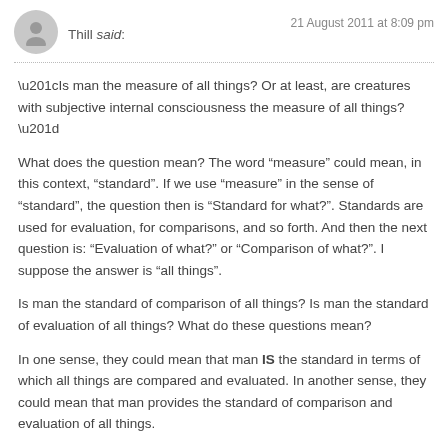Thill said: 21 August 2011 at 8:09 pm
“Is man the measure of all things? Or at least, are creatures with subjective internal consciousness the measure of all things?”
What does the question mean? The word “measure” could mean, in this context, “standard”. If we use “measure” in the sense of “standard”, the question then is “Standard for what?”. Standards are used for evaluation, for comparisons, and so forth. And then the next question is: “Evaluation of what?” or “Comparison of what?”. I suppose the answer is “all things”.
Is man the standard of comparison of all things? Is man the standard of evaluation of all things? What do these questions mean?
In one sense, they could mean that man IS the standard in terms of which all things are compared and evaluated. In another sense, they could mean that man provides the standard of comparison and evaluation of all things.